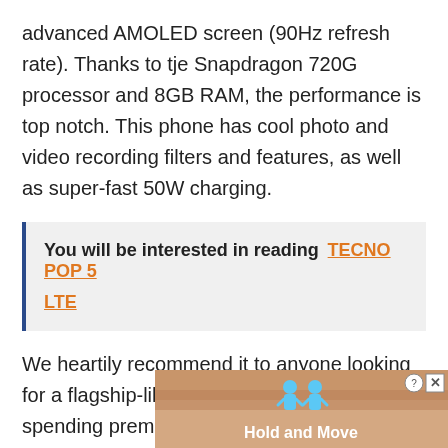advanced AMOLED screen (90Hz refresh rate). Thanks to tje Snapdragon 720G processor and 8GB RAM, the performance is top notch. This phone has cool photo and video recording filters and features, as well as super-fast 50W charging.
You will be interested in reading  TECNO POP 5 LTE
We heartily recommend it to anyone looking for a flagship-like experience without spending premi
[Figure (screenshot): Advertisement overlay showing 'Hold and Move' with cartoon figures on a wood-texture background, with close/question mark buttons in top right corner]